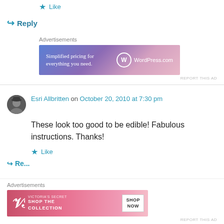Thanks for sharing!
★ Like
↪ Reply
Advertisements
[Figure (screenshot): WordPress.com advertisement banner: 'Simplified pricing for everything you need.']
REPORT THIS AD
Esri Allbritten on October 20, 2010 at 7:30 pm
These look too good to be edible! Fabulous instructions. Thanks!
★ Like
↪ Reply
Advertisements
[Figure (screenshot): Victoria's Secret advertisement banner: 'SHOP THE COLLECTION' with SHOP NOW button.]